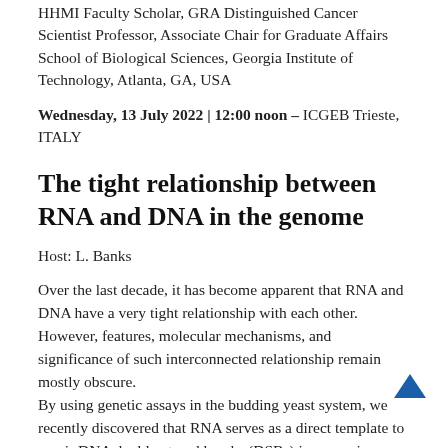HHMI Faculty Scholar, GRA Distinguished Cancer Scientist Professor, Associate Chair for Graduate Affairs School of Biological Sciences, Georgia Institute of Technology, Atlanta, GA, USA
Wednesday, 13 July 2022 | 12:00 noon – ICGEB Trieste, ITALY
The tight relationship between RNA and DNA in the genome
Host: L. Banks
Over the last decade, it has become apparent that RNA and DNA have a very tight relationship with each other. However, features, molecular mechanisms, and significance of such interconnected relationship remain mostly obscure.
By using genetic assays in the budding yeast system, we recently discovered that RNA serves as a direct template to repair DNA double-strand breaks (DSBs) in genomic